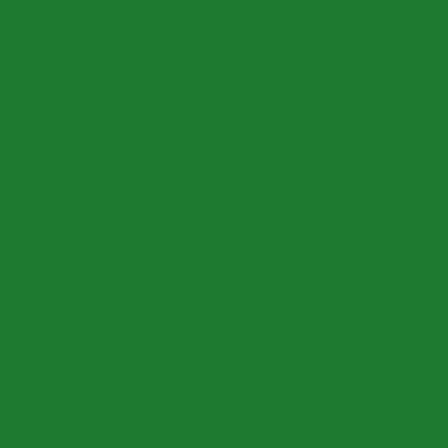[Figure (illustration): A seamless green-on-green decorative pattern on a medium green background. The pattern repeats in a grid of approximately 4 columns and 5 rows, featuring four alternating motifs arranged in horizontal bands: (1) a standing deer/stag with antlers, (2) an oak leaf cluster, (3) a duck or waterfowl in profile, (4) a maple leaf or broad leaf shape. All motifs are rendered in a darker forest green, creating a subtle tone-on-tone effect reminiscent of a hunting or nature-themed wrapping paper or fabric design.]